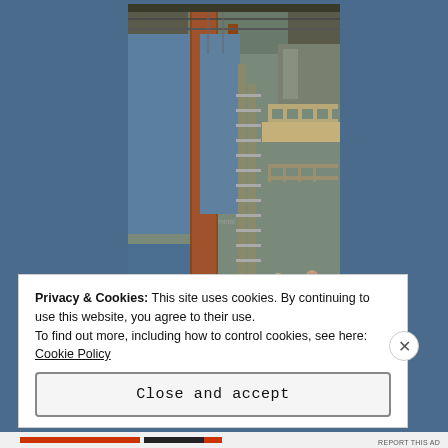[Figure (photo): Interior industrial facility photograph taken from ground level looking upward, showing tall metal scaffolding, rust-colored steel columns, blue-painted walls, metal staircases, railings, pipes, and overhead structural framework. Workers visible at the bottom right.]
Privacy & Cookies: This site uses cookies. By continuing to use this website, you agree to their use.
To find out more, including how to control cookies, see here: Cookie Policy
Close and accept